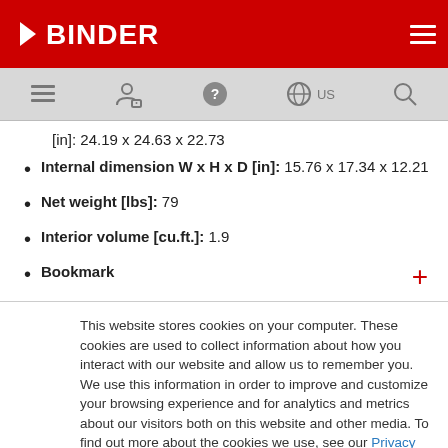BINDER
[in]: 24.19 x 24.63 x 22.73
Internal dimension W x H x D [in]: 15.76 x 17.34 x 12.21
Net weight [lbs]: 79
Interior volume [cu.ft.]: 1.9
Bookmark
This website stores cookies on your computer. These cookies are used to collect information about how you interact with our website and allow us to remember you. We use this information in order to improve and customize your browsing experience and for analytics and metrics about our visitors both on this website and other media. To find out more about the cookies we use, see our Privacy Policy.